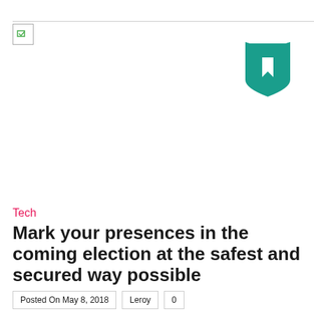[Figure (logo): Small website logo placeholder image in top left corner]
[Figure (illustration): Teal/green bookmark shield icon in upper right area]
Tech
Mark your presences in the coming election at the safest and secured way possible
Posted On May 8, 2018   Leroy   0